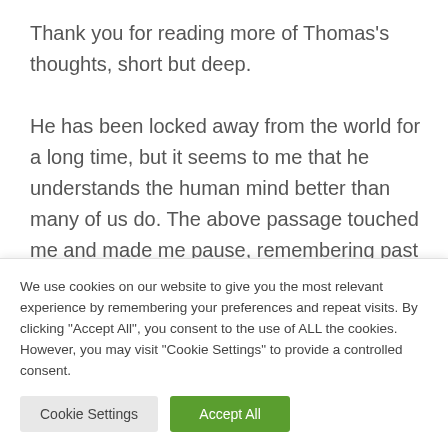Thank you for reading more of Thomas's thoughts, short but deep.

He has been locked away from the world for a long time, but it seems to me that he understands the human mind better than many of us do. The above passage touched me and made me pause, remembering past
We use cookies on our website to give you the most relevant experience by remembering your preferences and repeat visits. By clicking "Accept All", you consent to the use of ALL the cookies. However, you may visit "Cookie Settings" to provide a controlled consent.